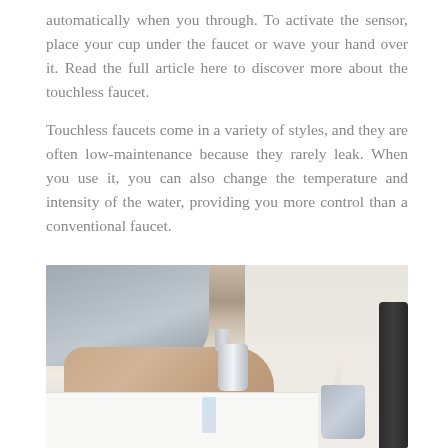automatically when you through. To activate the sensor, place your cup under the faucet or wave your hand over it. Read the full article here to discover more about the touchless faucet.
Touchless faucets come in a variety of styles, and they are often low-maintenance because they rarely leak. When you use it, you can also change the temperature and intensity of the water, providing you more control than a conventional faucet.
[Figure (photo): A person washing their hands under a touchless chrome faucet at a white bathroom sink. A toothbrush holder with a bamboo toothbrush is visible on the right side, along with a dark soap dispenser.]